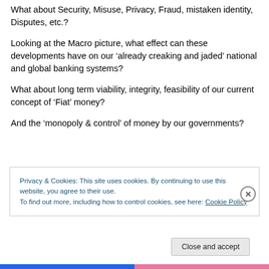What about Security, Misuse, Privacy, Fraud, mistaken identity, Disputes, etc.?
Looking at the Macro picture, what effect can these developments have on our ‘already creaking and jaded’ national and global banking systems?
What about long term viability, integrity, feasibility of our current concept of ‘Fiat’ money?
And the ‘monopoly & control’ of money by our governments?
Privacy & Cookies: This site uses cookies. By continuing to use this website, you agree to their use.
To find out more, including how to control cookies, see here: Cookie Policy
Close and accept